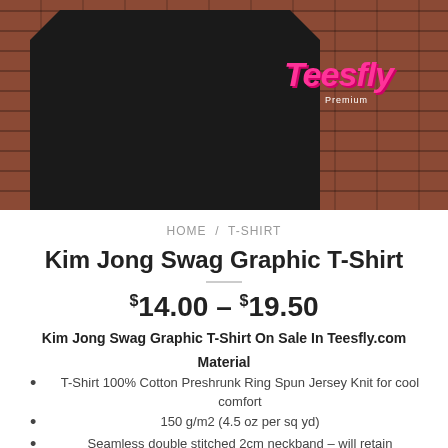[Figure (photo): Hero image of a black graphic T-shirt with pink 'Teesfly' logo displayed against a red brick wall background]
HOME / T-SHIRT
Kim Jong Swag Graphic T-Shirt
$14.00 – $19.50
Kim Jong Swag Graphic T-Shirt On Sale In Teesfly.com
Material
T-Shirt 100% Cotton Preshrunk Ring Spun Jersey Knit for cool comfort
150 g/m2 (4.5 oz per sq yd)
Seamless double stitched 2cm neckband – will retain